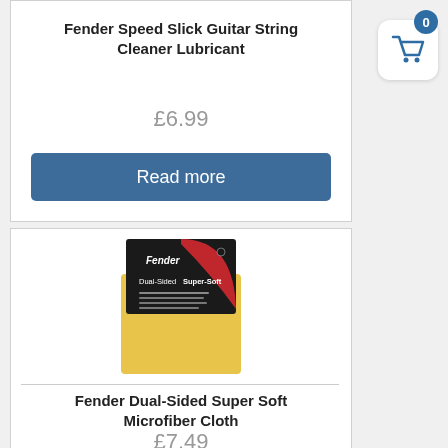Fender Speed Slick Guitar String Cleaner Lubricant
£6.99
Read more
[Figure (photo): Fender Dual-Sided Super-Soft Microfiber Cloth product packaging - black and red card with yellow microfiber cloth]
Fender Dual-Sided Super Soft Microfiber Cloth
£7.49